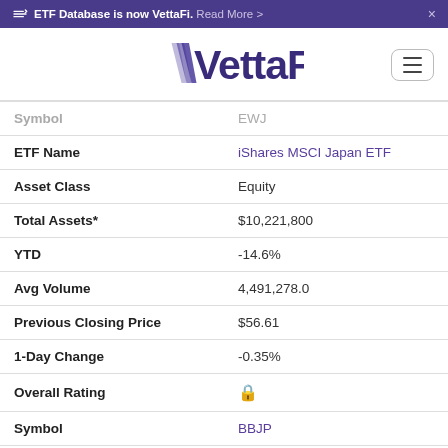ETF Database is now VettaFi. Read More >
[Figure (logo): VettaFi logo in purple with stylized V]
| Field | Value |
| --- | --- |
| Symbol | EWJ |
| ETF Name | iShares MSCI Japan ETF |
| Asset Class | Equity |
| Total Assets* | $10,221,800 |
| YTD | -14.6% |
| Avg Volume | 4,491,278.0 |
| Previous Closing Price | $56.61 |
| 1-Day Change | -0.35% |
| Overall Rating | (lock icon) |
| Symbol | BBJP |